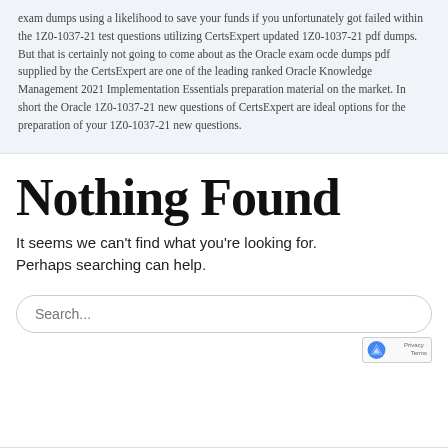exam dumps using a likelihood to save your funds if you unfortunately got failed within the 1Z0-1037-21 test questions utilizing CertsExpert updated 1Z0-1037-21 pdf dumps. But that is certainly not going to come about as the Oracle exam ocde dumps pdf supplied by the CertsExpert are one of the leading ranked Oracle Knowledge Management 2021 Implementation Essentials preparation material on the market. In short the Oracle 1Z0-1037-21 new questions of CertsExpert are ideal options for the preparation of your 1Z0-1037-21 new questions.
Nothing Found
It seems we can't find what you're looking for. Perhaps searching can help.